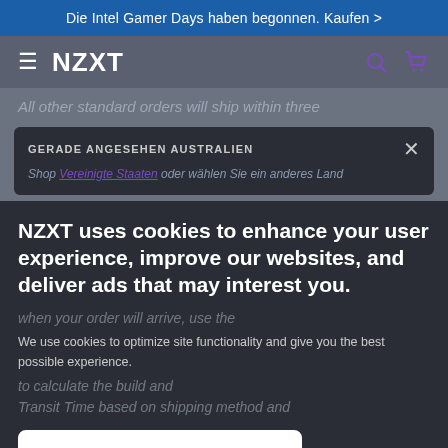Die Intel Gamer Days haben begonnen. Kaufen >
[Figure (screenshot): NZXT website navigation bar with hamburger menu, NZXT logo, search icon and cart icon]
All other standard orders will ship within three
GERADE ANGESEHEN AUSTRALIEN
Shop Vereinigte Staaten oder wählen Sie ein anderes Land
NZXT uses cookies to enhance your user experience, improve our websites, and deliver ads that may interest you.
We use cookies to optimize site functionality and give you the best possible experience.
Accept All Cookies
Shipping/Delivery Time and Pricing
I Do Not Accept Cookies
Settings
Standard shipping service to capital cities is